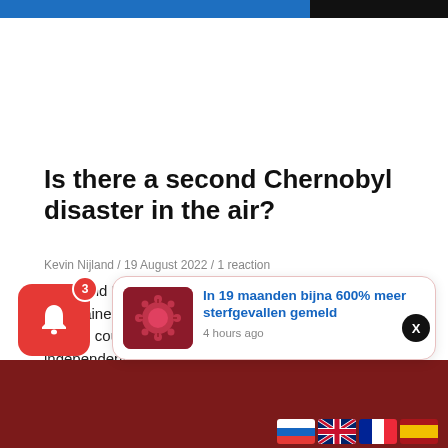Is there a second Chernobyl disaster in the air?
Kevin Nijland / 19 August 2022 / 1 reaction
Putin and Macron call for nuclear power plant inspection in Ukraine Russian President Vladimir Putin and his French counterpart Emmanuel Macron called for independent
Read more...
[Figure (other): Red notification bell widget with badge showing count 3]
[Figure (other): Popup notification card with coronavirus image and headline 'In 19 maanden bijna 600% meer sterfgevallen gemeld', timestamp '4 hours ago']
[Figure (photo): Bottom image strip showing dark red background with flags of Russia, UK, France, Spain]